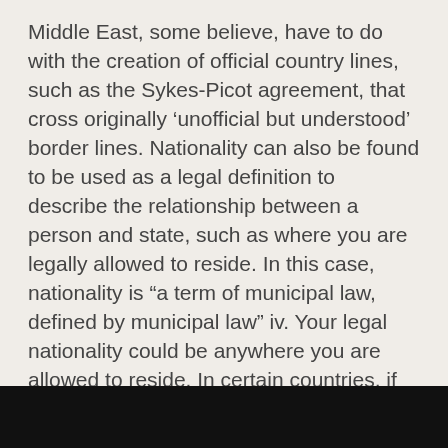Middle East, some believe, have to do with the creation of official country lines, such as the Sykes-Picot agreement, that cross originally ‘unofficial but understood’ border lines. Nationality can also be found to be used as a legal definition to describe the relationship between a person and state, such as where you are legally allowed to reside. In this case, nationality is “a term of municipal law, defined by municipal law” iv. Your legal nationality could be anywhere you are allowed to reside. In certain countries, if you live within a country for a specific amount of time you could become a citizen (therefore having political rights) through nationalisation.